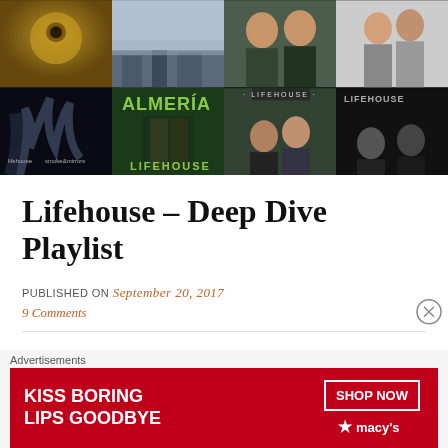[Figure (photo): 2x4 grid of Lifehouse album covers showing various band photos and album artwork including Smokehouse, Almeria, and other albums]
Lifehouse – Deep Dive Playlist
PUBLISHED ON September 20, 2017
9 Comments
[Figure (photo): Advertisement banner: KISS BORING LIPS GOODBYE - SHOP NOW - Macy's]
Advertisements